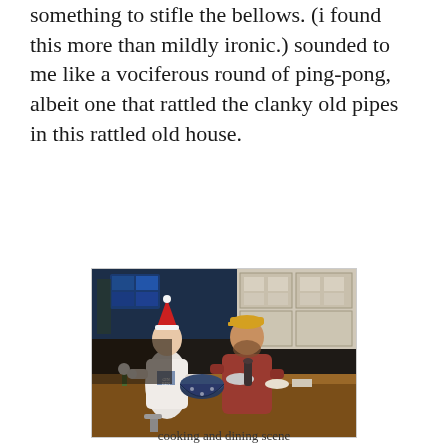something to stifle the bellows. (i found this more than mildly ironic.) sounded to me like a vociferous round of ping-pong, albeit one that rattled the clanky old pipes in this rattled old house.
[Figure (photo): Two people standing in a kitchen. The person on the left wears a white t-shirt and a Santa hat; the person on the right wears a yellow/orange baseball cap and a maroon long-sleeve shirt. They appear to be cooking or preparing food at a kitchen island/table. On the table are various items including a large decorative blue-and-white pot, flowers, a pepper mill, and other kitchen items. The kitchen has white cabinets and a wooden countertop.]
cooking and dining scene